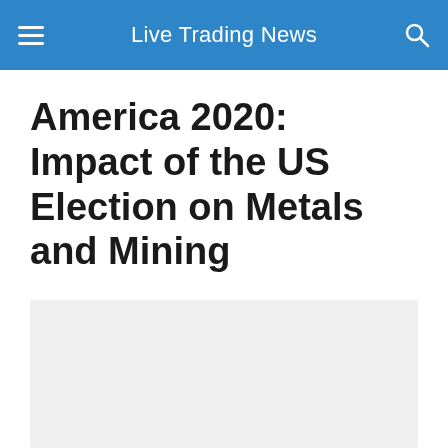Live Trading News
America 2020: Impact of the US Election on Metals and Mining
[Figure (photo): A light gray placeholder image area below the article title]